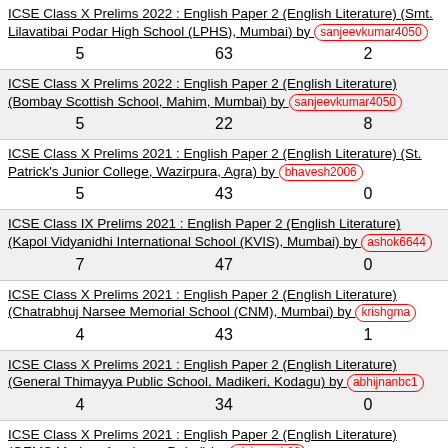ICSE Class X Prelims 2022 : English Paper 2 (English Literature) (Smt. Lilavatibai Podar High School (LPHS), Mumbai) by sanjeevkumar4050 | 5 | 63 | 2
ICSE Class X Prelims 2022 : English Paper 2 (English Literature) (Bombay Scottish School, Mahim, Mumbai) by sanjeevkumar4050 | 5 | 22 | 8
ICSE Class X Prelims 2021 : English Paper 2 (English Literature) (St. Patrick's Junior College, Wazirpura, Agra) by bhavesh2006 | 5 | 43 | 0
ICSE Class IX Prelims 2021 : English Paper 2 (English Literature) (Kapol Vidyanidhi International School (KVIS), Mumbai) by ashok6644 | 7 | 47 | 0
ICSE Class X Prelims 2021 : English Paper 2 (English Literature) (Chatrabhuj Narsee Memorial School (CNM), Mumbai) by krishgma | 4 | 43 | 1
ICSE Class X Prelims 2021 : English Paper 2 (English Literature) (General Thimayya Public School, Madikeri, Kodagu) by abhijnanbc1 | 4 | 34 | 0
ICSE Class X Prelims 2021 : English Paper 2 (English Literature) (GEMS Modern Academy, Dubai) by nishaanth82 | 5 | 43 | 5